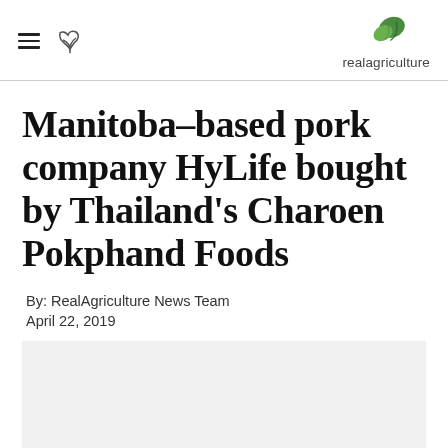realagriculture
Manitoba–based pork company HyLife bought by Thailand's Charoen Pokphand Foods
By: RealAgriculture News Team
April 22, 2019
[Figure (other): Light gray image placeholder area]